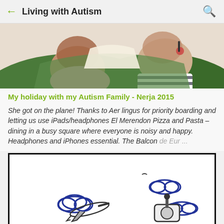Living with Autism
[Figure (photo): Two children looking at a book together, one in a pink top and one in a striped shirt, photographed from above on an airplane]
My holiday with my Autism Family - Nerja 2015
She got on the plane! Thanks to Aer lingus for priority boarding and letting us use iPads/headphones El Merendon Pizza and Pasta – dining in a busy square where everyone is noisy and happy. Headphones and iPhones essential. The Balcon de Eur ...
[Figure (illustration): Hand-drawn style illustration showing an airplane flying among blue clouds, and a joystick/game controller, on white background with black border]